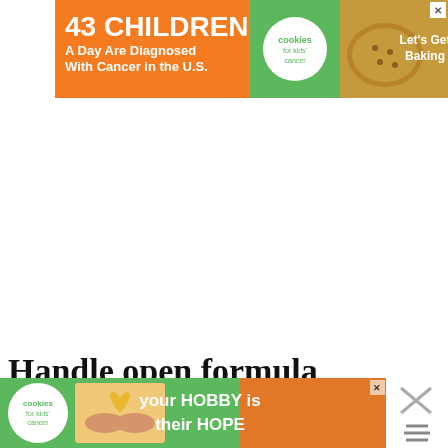[Figure (screenshot): Advertisement banner: '43 Children A Day Are Diagnosed With Cancer in the U.S.' with Cookies for Kids' Cancer logo and 'Let's Get Baking' text on brown/orange/green background]
[Figure (screenshot): Large white blank content area, heart (favorite) button, share button, and WHAT'S NEXT panel showing '16 Best Non-Toxic...']
Handle open formula container
[Figure (screenshot): Bottom advertisement banner for Cookies for Kids' Cancer: 'your HOBBY is their HOPE' with cookie image and logo]